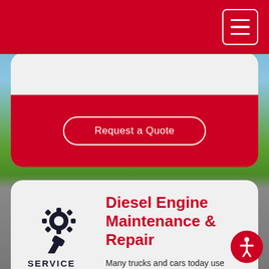Request a Quote
[Figure (illustration): Gear and wrench service icon with text SERVICE below]
Diesel Engine Maintenance & Repair
Many trucks and cars today use engines that run on diesel fuel. While these engines are generally more fuel efficient and reliable than their gas counter parts, they do require specialized maintenance to keep them running smoothly. Efficient operation of things like glow plugs, fuel pumps,